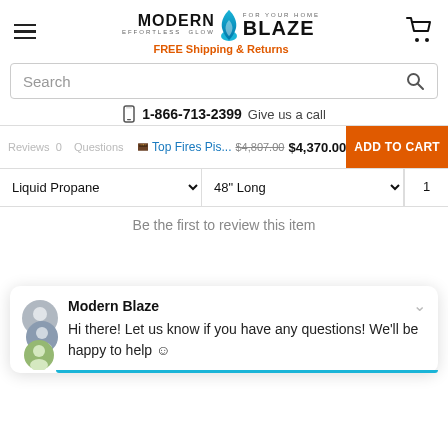Modern Blaze — For Your Home, Effortless Glow. FREE Shipping & Returns
Search
1-866-713-2399 Give us a call
Reviews  Questions
Top Fires Pis...  $4,807.00  $4,370.00  ADD TO CART
Liquid Propane   48" Long   1
Be the first to review this item
Modern Blaze
Hi there! Let us know if you have any questions! We'll be happy to help ☺